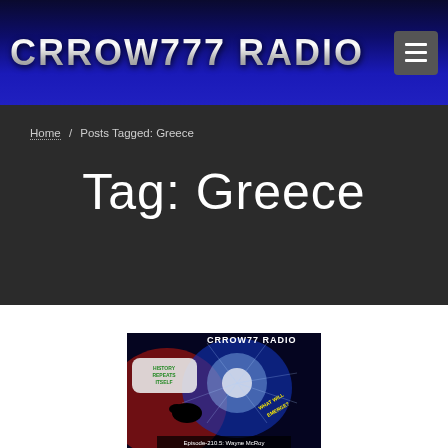CRROW777 RADIO
Home / Posts Tagged: Greece
Tag: Greece
[Figure (illustration): Crrow777 Radio episode thumbnail image showing a crow, a glowing central figure, swirling red and blue background with the text HISTORY REPEATS ITSELF, WHAT WILL EMERGE?, Episode 210.5: Wayne McRoy]